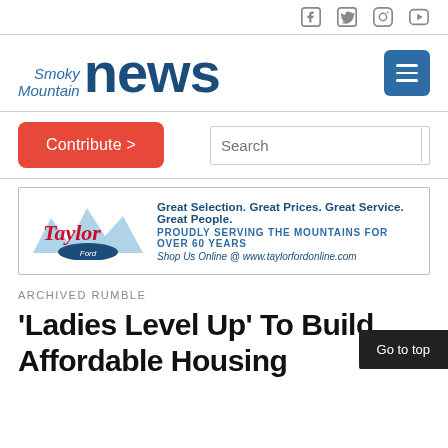Smoky Mountain news — social icons: Facebook, Twitter, Instagram, YouTube
[Figure (logo): Smoky Mountain News logo with hamburger menu button]
[Figure (other): Contribute button and Search box navigation bar]
[Figure (other): Taylor Ford advertisement: Great Selection. Great Prices. Great Service. Great People. PROUDLY SERVING THE MOUNTAINS FOR OVER 60 YEARS. Shop Us Online @ www.taylorfordonline.com]
ARCHIVED RUMBLE
'Ladies Level Up' To Build Affordable Housing